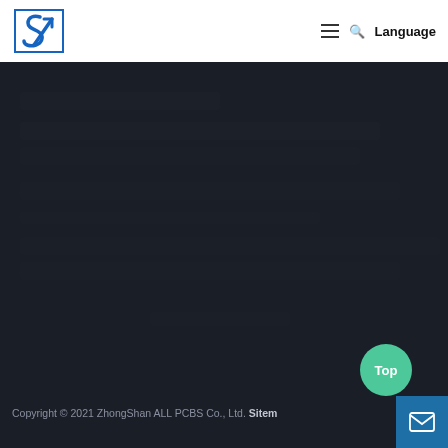ST logo | Navigation menu | Search | Language
[Figure (screenshot): Dark background webpage screenshot showing PCB-related website content, mostly obscured/blurred dark area with faint text]
Copyright © 2021 ZhongShan ALL PCBS Co., Ltd. Sitemap